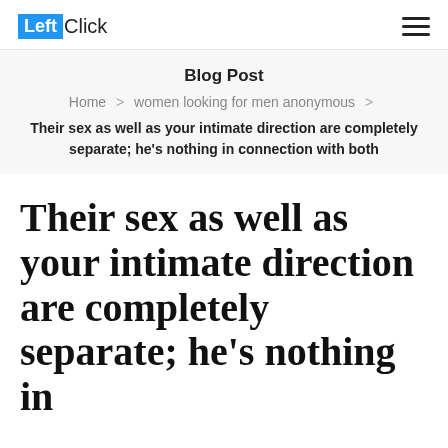LeftClick
Blog Post
Home > women looking for men anonymous >
Their sex as well as your intimate direction are completely separate; he’s nothing in connection with both
Their sex as well as your intimate direction are completely separate; he’s nothing in